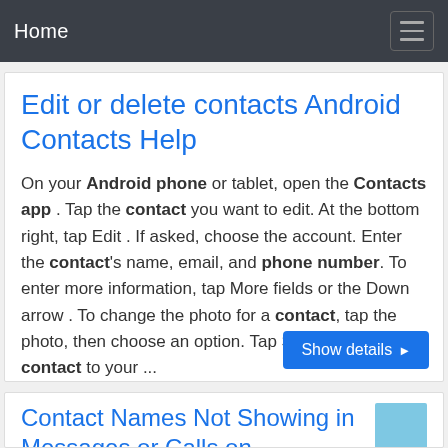Home
Edit or delete contacts Android Contacts Help
On your Android phone or tablet, open the Contacts app . Tap the contact you want to edit. At the bottom right, tap Edit . If asked, choose the account. Enter the contact's name, email, and phone number. To enter more information, tap More fields or the Down arrow . To change the photo for a contact, tap the photo, then choose an option. Tap Save. Add a contact to your ...
Show details ▶
Contact Names Not Showing in Messages or Calls on ...